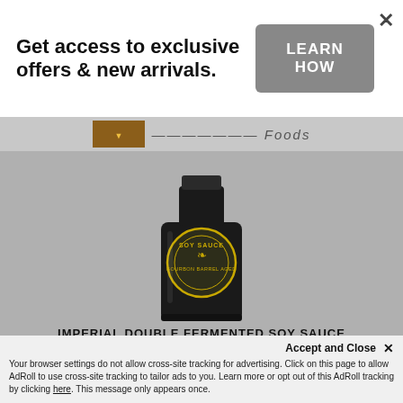Get access to exclusive offers & new arrivals.
LEARN HOW
[Figure (photo): Dark glass bottle of Imperial Double Fermented Soy Sauce with a round gold label showing SOY SAUCE and BOURBON BARREL AGED text]
IMPERIAL DOUBLE FERMENTED SOY SAUCE
$20.00
ADD TO CART
Accept and Close ✕
Your browser settings do not allow cross-site tracking for advertising. Click on this page to allow AdRoll to use cross-site tracking to tailor ads to you. Learn more or opt out of this AdRoll tracking by clicking here. This message only appears once.